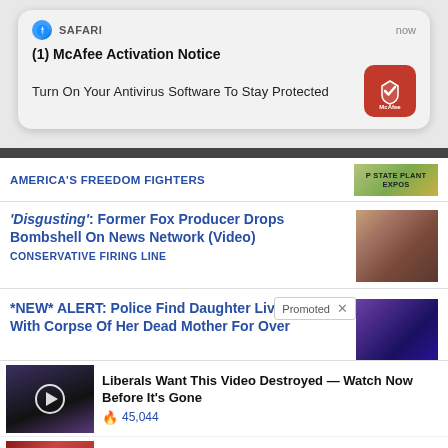[Figure (screenshot): Safari browser push notification from McAfee: '(1) McAfee Activation Notice — Turn On Your Antivirus Software To Stay Protected' with McAfee red icon]
AMERICA'S FREEDOM FIGHTERS
'Disgusting': Former Fox Producer Drops Bombshell On News Network (Video) — CONSERVATIVE FIRING LINE
*NEW* ALERT: Police Find Daughter Livi With Corpse Of Her Dead Mother For Over
Promoted
Liberals Want This Video Destroyed — Watch Now Before It's Gone
45,044
4 Worst Blood Pressure Drugs (Avoid At All Costs)
31,328